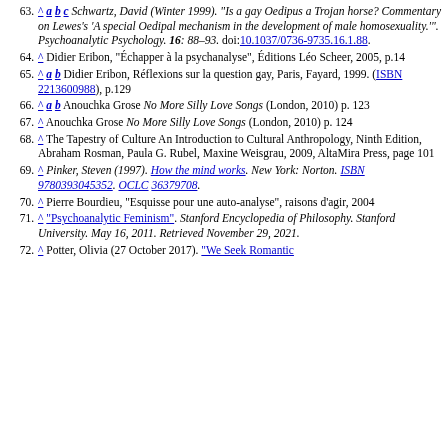63. ^ a b c Schwartz, David (Winter 1999). "Is a gay Oedipus a Trojan horse? Commentary on Lewes's 'A special Oedipal mechanism in the development of male homosexuality.'". Psychoanalytic Psychology. 16: 88–93. doi:10.1037/0736-9735.16.1.88.
64. ^ Didier Eribon, "Échapper à la psychanalyse", Éditions Léo Scheer, 2005, p.14
65. ^ a b Didier Eribon, Réflexions sur la question gay, Paris, Fayard, 1999. (ISBN 2213600988), p.129
66. ^ a b Anouchka Grose No More Silly Love Songs (London, 2010) p. 123
67. ^ Anouchka Grose No More Silly Love Songs (London, 2010) p. 124
68. ^ The Tapestry of Culture An Introduction to Cultural Anthropology, Ninth Edition, Abraham Rosman, Paula G. Rubel, Maxine Weisgrau, 2009, AltaMira Press, page 101
69. ^ Pinker, Steven (1997). How the mind works. New York: Norton. ISBN 9780393045352. OCLC 36379708.
70. ^ Pierre Bourdieu, "Esquisse pour une auto-analyse", raisons d'agir, 2004
71. ^ "Psychoanalytic Feminism". Stanford Encyclopedia of Philosophy. Stanford University. May 16, 2011. Retrieved November 29, 2021.
72. ^ Potter, Olivia (27 October 2017). "We Seek Romantic...